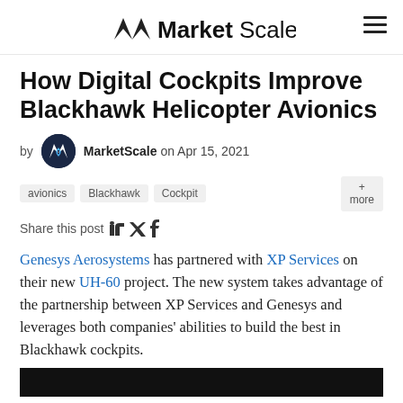MarketScale
How Digital Cockpits Improve Blackhawk Helicopter Avionics
by MarketScale on Apr 15, 2021
avionics  Blackhawk  Cockpit  + more
Share this post
Genesys Aerosystems has partnered with XP Services on their new UH-60 project. The new system takes advantage of the partnership between XP Services and Genesys and leverages both companies' abilities to build the best in Blackhawk cockpits.